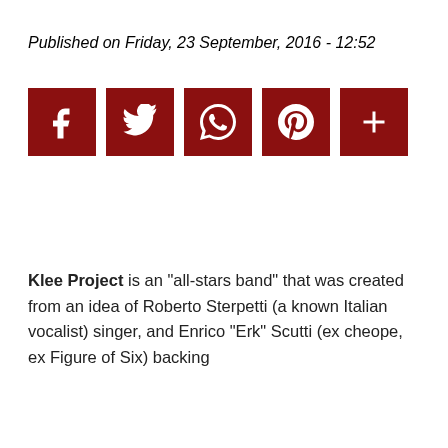Published on Friday, 23 September, 2016 - 12:52
[Figure (other): Row of five dark red social media share buttons: Facebook (f), Twitter (bird), WhatsApp (chat bubble), Pinterest (P), and a plus (+) button]
Klee Project is an "all-stars band" that was created from an idea of Roberto Sterpetti (a known Italian vocalist) singer, and Enrico "Erk" Scutti (ex cheope, ex Figure of Six) backing